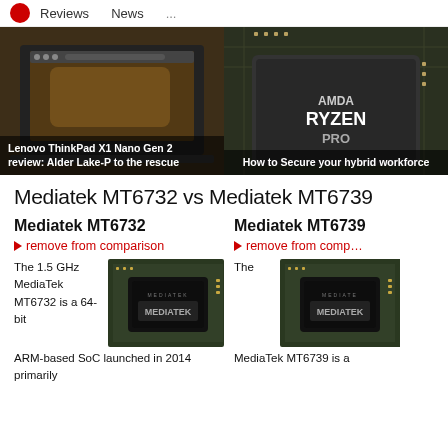Reviews   News   ...
[Figure (photo): Lenovo ThinkPad X1 Nano Gen 2 laptop on a dark background with a cheetah on the screen]
Lenovo ThinkPad X1 Nano Gen 2 review: Alder Lake-P to the rescue
[Figure (photo): AMD Ryzen PRO processor chip close-up on a green circuit board]
How to Secure your hybrid workforce
Mediatek MT6732 vs Mediatek MT6739
Mediatek MT6732
remove from comparison
The 1.5 GHz MediaTek MT6732 is a 64-bit ARM-based SoC launched in 2014 primarily
[Figure (photo): MediaTek chip on green circuit board - MT6732]
Mediatek MT6739
remove from comparison
The
[Figure (photo): MediaTek chip on green circuit board - MT6739]
MediaTek MT6739 is a